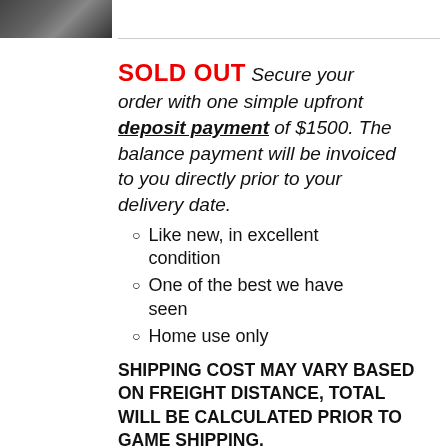[Figure (photo): Small thumbnail image of a machine/game, dark tones]
SOLD OUT Secure your order with one simple upfront deposit payment of $1500. The balance payment will be invoiced to you directly prior to your delivery date.
Like new, in excellent condition
One of the best we have seen
Home use only
SHIPPING COST MAY VARY BASED ON FREIGHT DISTANCE, TOTAL WILL BE CALCULATED PRIOR TO GAME SHIPPING.